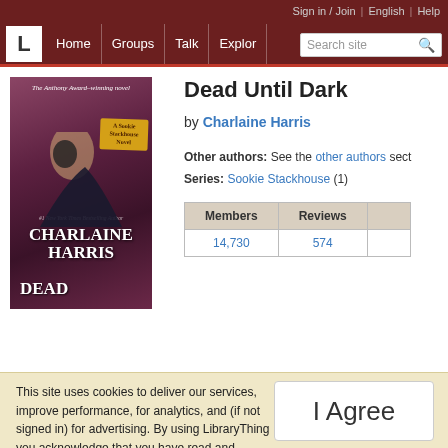Sign in / Join | English | Help | Home | Groups | Talk | Explore | Search site
[Figure (illustration): Book cover of 'Dead Until Dark' by Charlaine Harris — The Anthony Award-winning novel, A Sookie Stackhouse Novel, #1 New York Times Bestselling Author, showing a figure in a dark cloak]
Dead Until Dark
by Charlaine Harris
Other authors: See the other authors section.
Series: Sookie Stackhouse (1)
| Members | Reviews |
| --- | --- |
| 14,730 | 574 |
This site uses cookies to deliver our services, improve performance, for analytics, and (if not signed in) for advertising. By using LibraryThing you acknowledge that you have read and understand our Terms of Service and Privacy Policy. Your use of the site and services is subject to these policies and terms.
I Agree